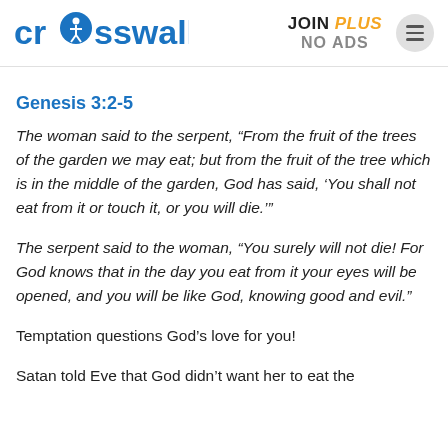crosswalk.com  JOIN PLUS NO ADS
Genesis 3:2-5
The woman said to the serpent, “From the fruit of the trees of the garden we may eat; but from the fruit of the tree which is in the middle of the garden, God has said, ‘You shall not eat from it or touch it, or you will die.’”
The serpent said to the woman, “You surely will not die! For God knows that in the day you eat from it your eyes will be opened, and you will be like God, knowing good and evil.”
Temptation questions God’s love for you!
Satan told Eve that God didn’t want her to eat the